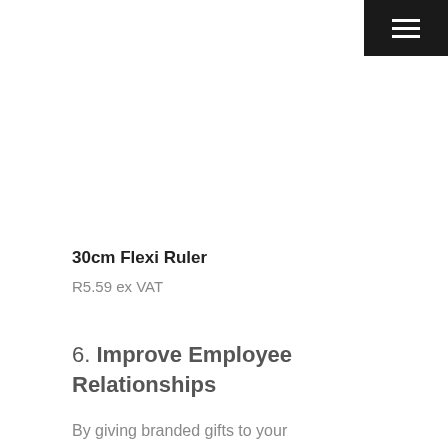[Figure (other): Navigation menu button icon (hamburger) on dark background, top right corner]
30cm Flexi Ruler
R5.59 ex VAT
6. Improve Employee Relationships
By giving branded gifts to your